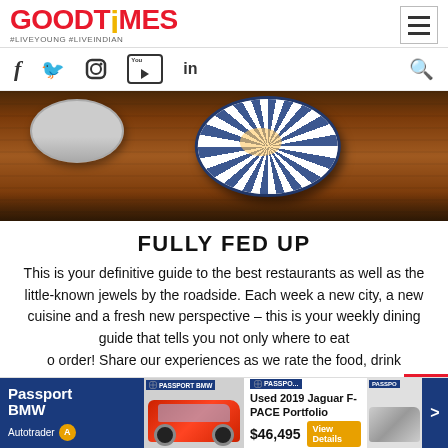GOODTiMES #LIVEYOUNG #LIVEINDIAN
[Figure (photo): Navigation social media icons: Facebook, Twitter, Instagram, YouTube, LinkedIn, and search icon]
[Figure (photo): Close-up photo of dining bowls on a wooden table — a blue-and-white patterned bowl and a plain grey bowl]
FULLY FED UP
This is your definitive guide to the best restaurants as well as the little-known jewels by the roadside. Each week a new city, a new cuisine and a fresh new perspective – this is your weekly dining guide that tells you not only where to eat but what to order! Share our experiences as we rate the food, drink
[Figure (other): Advertisement banner: Passport BMW, Used 2019 Jaguar F-PACE Portfolio, $46,495, View Details button, Autotrader logo]